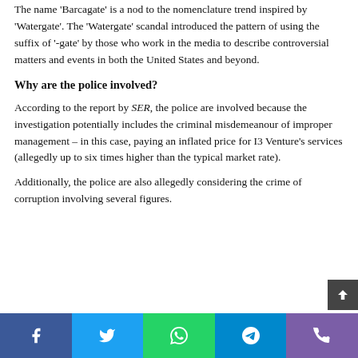The name 'Barcagate' is a nod to the nomenclature trend inspired by 'Watergate'. The 'Watergate' scandal introduced the pattern of using the suffix of '-gate' by those who work in the media to describe controversial matters and events in both the United States and beyond.
Why are the police involved?
According to the report by SER, the police are involved because the investigation potentially includes the criminal misdemeanour of improper management – in this case, paying an inflated price for I3 Venture's services (allegedly up to six times higher than the typical market rate).
Additionally, the police are also allegedly considering the crime of corruption involving several figures.
Social share bar: Facebook, Twitter, WhatsApp, Telegram, Phone